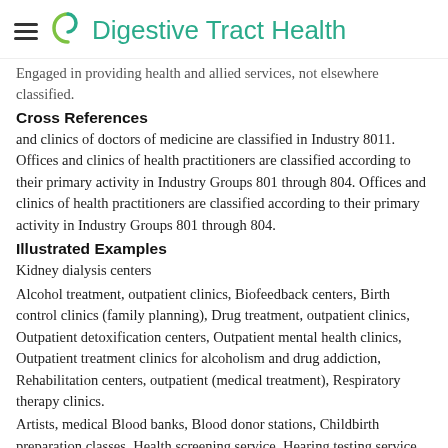Digestive Tract Health
Engaged in providing health and allied services, not elsewhere classified.
Cross References
and clinics of doctors of medicine are classified in Industry 8011. Offices and clinics of health practitioners are classified according to their primary activity in Industry Groups 801 through 804. Offices and clinics of health practitioners are classified according to their primary activity in Industry Groups 801 through 804.
Illustrated Examples
Kidney dialysis centers
Alcohol treatment, outpatient clinics, Biofeedback centers, Birth control clinics (family planning), Drug treatment, outpatient clinics, Outpatient detoxification centers, Outpatient mental health clinics, Outpatient treatment clinics for alcoholism and drug addiction, Rehabilitation centers, outpatient (medical treatment), Respiratory therapy clinics.
Artists, medical Blood banks, Blood donor stations, Childbirth preparation classes, Health screening service, Hearing testing service, Insurance physical examination service, except by physicians, Medical photography, and art, Osteoporosis centers, Oxygen tent service, Physical examination service, except by